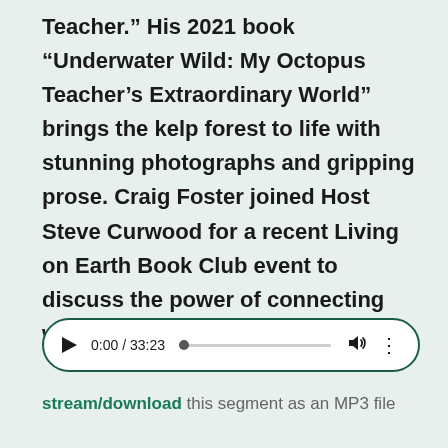Teacher.” His 2021 book “Underwater Wild: My Octopus Teacher’s Extraordinary World” brings the kelp forest to life with stunning photographs and gripping prose. Craig Foster joined Host Steve Curwood for a recent Living on Earth Book Club event to discuss the power of connecting with wild nature.
[Figure (other): Audio player widget showing 0:00 / 33:23 with play button, progress bar, volume and more options icons]
stream/download this segment as an MP3 file